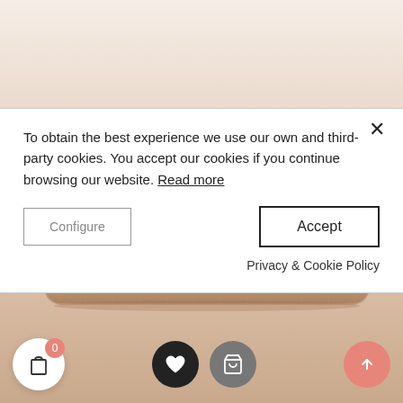[Figure (screenshot): E-commerce website screenshot showing a cookie consent modal overlay on a product page. Below the modal is a wooden balance board product. Bottom UI shows shopping bag, heart, cart, and scroll-up buttons.]
To obtain the best experience we use our own and third-party cookies. You accept our cookies if you continue browsing our website. Read more
Configure
Accept
Privacy & Cookie Policy